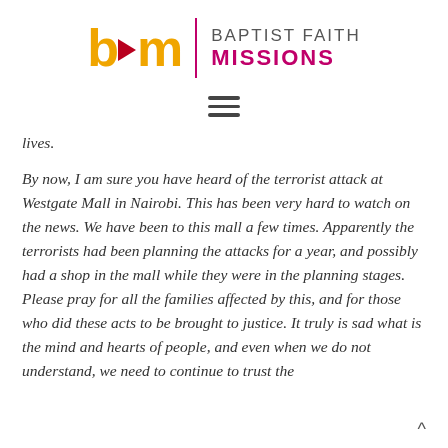[Figure (logo): Baptist Faith Missions logo with 'bfm' in gold/orange with a red arrow, a magenta vertical divider, and 'BAPTIST FAITH MISSIONS' text in gray and magenta]
[Figure (other): Hamburger menu icon (three horizontal lines)]
lives.
By now, I am sure you have heard of the terrorist attack at Westgate Mall in Nairobi. This has been very hard to watch on the news. We have been to this mall a few times. Apparently the terrorists had been planning the attacks for a year, and possibly had a shop in the mall while they were in the planning stages. Please pray for all the families affected by this, and for those who did these acts to be brought to justice. It truly is sad what is the mind and hearts of people, and even when we do not understand, we need to continue to trust the